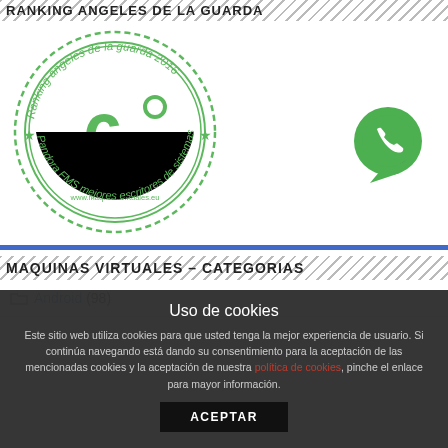RANKING ANGELES DE LA GUARDA
[Figure (illustration): Circular green badge reading 'Ranking ángeles de la guarda 2016' around the edge, with '6°' in large green text in the center, 'Raúl Unzué' below it, 'www.maquinasvirtuales.eu' below that, and 'Pandora FMS mejores escritores de sistemas' along the bottom arc. Stars on left and right sides.]
[Figure (logo): WhatsApp green phone logo in a speech bubble circle.]
MAQUINAS VIRTUALES – CATEGORIAS
Android (98)
Uso de cookies
Este sitio web utiliza cookies para que usted tenga la mejor experiencia de usuario. Si continúa navegando está dando su consentimiento para la aceptación de las mencionadas cookies y la aceptación de nuestra política de cookies, pinche el enlace para mayor información.
ACEPTAR